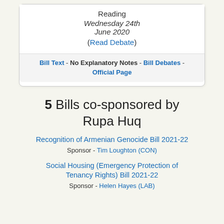Reading
Wednesday 24th June 2020
(Read Debate)
Bill Text - No Explanatory Notes - Bill Debates - Official Page
5 Bills co-sponsored by Rupa Huq
Recognition of Armenian Genocide Bill 2021-22
Sponsor - Tim Loughton (CON)
Social Housing (Emergency Protection of Tenancy Rights) Bill 2021-22
Sponsor - Helen Hayes (LAB)